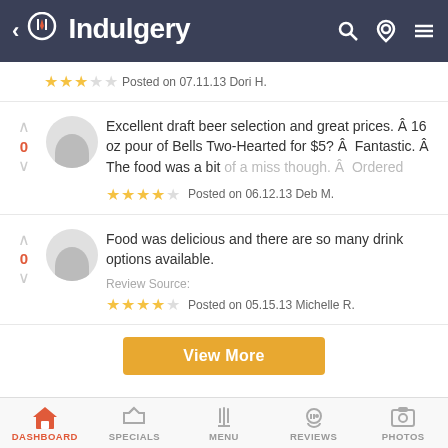< Indulgery
Posted on 07.11.13 Dori H. (3 stars)
Excellent draft beer selection and great prices. Â 16 oz pour of Bells Two-Hearted for $5? Â  Fantastic. Â The food was a bit of a miss though. Â  Ordered
Posted on 06.12.13 Deb M. (4 stars)
Food was delicious and there are so many drink options available.
Review Source:
Posted on 05.15.13 Michelle R. (4 stars)
DASHBOARD  SPECIALS  MENU  REVIEWS  PHOTOS